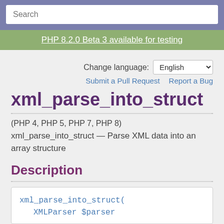Search
PHP 8.2.0 Beta 3 available for testing
Change language: English
Submit a Pull Request   Report a Bug
xml_parse_into_struct
(PHP 4, PHP 5, PHP 7, PHP 8)
xml_parse_into_struct — Parse XML data into an array structure
Description
xml_parse_into_struct(
    XMLParser $parser